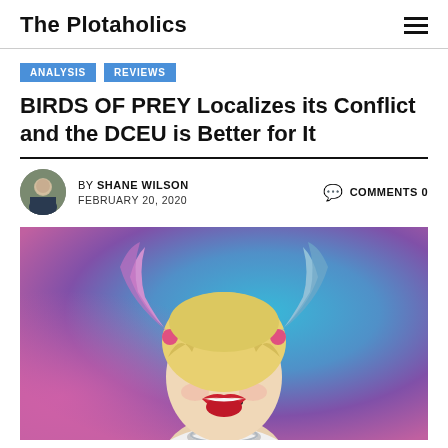The Plotaholics
ANALYSIS
REVIEWS
BIRDS OF PREY Localizes its Conflict and the DCEU is Better for It
BY SHANE WILSON   FEBRUARY 20, 2020   COMMENTS 0
[Figure (photo): Harley Quinn (Margot Robbie) in Birds of Prey, smiling with colorful blue and pink background, wearing pigtails and a necklace]